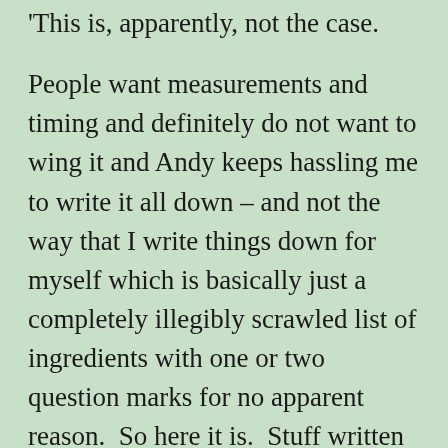This is, apparently, not the case.
People want measurements and timing and definitely do not want to wing it and Andy keeps hassling me to write it all down – and not the way that I write things down for myself which is basically just a completely illegibly scrawled list of ingredients with one or two question marks for no apparent reason.  So here it is.  Stuff written down with instructions.
I made this because we had a leftover chicken breast from a barbecue we'd been to the day before and I'd bought some artichokes on special at La Mana.  Everything else is the kind of stuff we just have in the fridge and the herbs